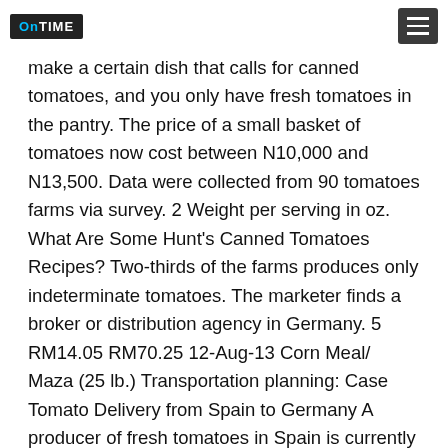OnTIME [logo] [menu button]
make a certain dish that calls for canned tomatoes, and you only have fresh tomatoes in the pantry. The price of a small basket of tomatoes now cost between N10,000 and N13,500. Data were collected from 90 tomatoes farms via survey. 2 Weight per serving in oz. What Are Some Hunt's Canned Tomatoes Recipes? Two-thirds of the farms produces only indeterminate tomatoes. The marketer finds a broker or distribution agency in Germany. 5 RM14.05 RM70.25 12-Aug-13 Corn Meal/ Maza (25 lb.) Transportation planning: Case Tomato Delivery from Spain to Germany A producer of fresh tomatoes in Spain is currently analysing at which frequency products should be delivered to Germany. 71 ($0.11/Ounce) 5% coupon applied at about Save 5% with...